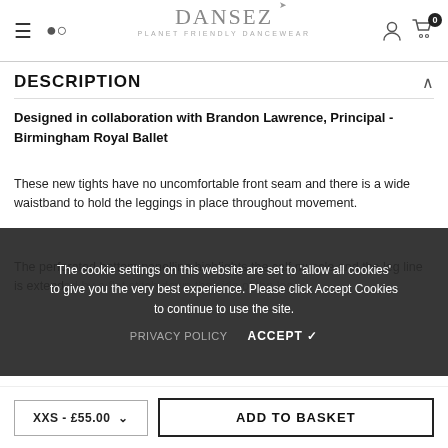DANSEZ — PLANET FRIENDLY DANCEWEAR
DESCRIPTION
Designed in collaboration with Brandon Lawrence, Principal - Birmingham Royal Ballet
These new tights have no uncomfortable front seam and there is a wide waistband to hold the leggings in place throughout movement.
The perforated bottom panelling highlights the calf muscle and the leg line is extended by a flat stitch down the side of the leg.
The cookie settings on this website are set to 'allow all cookies' to give you the very best experience. Please click Accept Cookies to continue to use the site.
PRIVACY POLICY    ACCEPT ✓